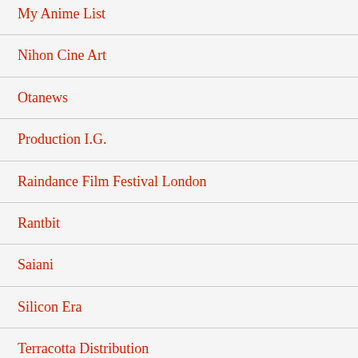My Anime List
Nihon Cine Art
Otanews
Production I.G.
Raindance Film Festival London
Rantbit
Saiani
Silicon Era
Terracotta Distribution
The Check-In Station